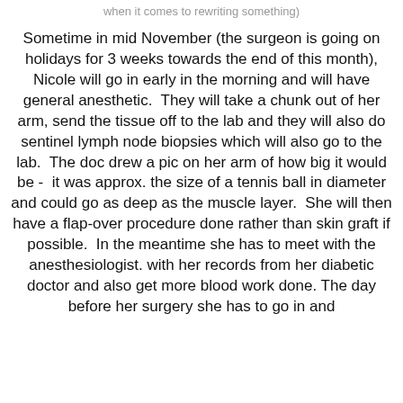when it comes to rewriting something)
Sometime in mid November (the surgeon is going on holidays for 3 weeks towards the end of this month), Nicole will go in early in the morning and will have general anesthetic.  They will take a chunk out of her arm, send the tissue off to the lab and they will also do sentinel lymph node biopsies which will also go to the lab.  The doc drew a pic on her arm of how big it would be -  it was approx. the size of a tennis ball in diameter and could go as deep as the muscle layer.  She will then have a flap-over procedure done rather than skin graft if possible.  In the meantime she has to meet with the anesthesiologist. with her records from her diabetic doctor and also get more blood work done. The day before her surgery she has to go in and